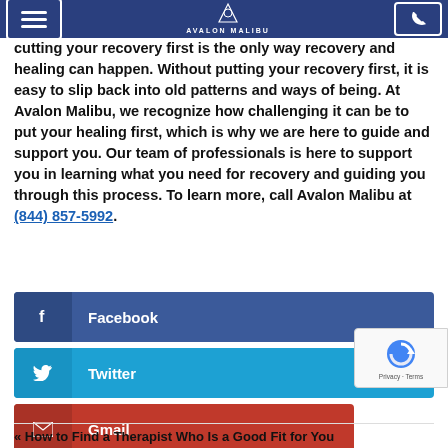Avalon Malibu
cutting your recovery first is the only way recovery and healing can happen. Without putting your recovery first, it is easy to slip back into old patterns and ways of being. At Avalon Malibu, we recognize how challenging it can be to put your healing first, which is why we are here to guide and support you. Our team of professionals is here to support you in learning what you need for recovery and guiding you through this process. To learn more, call Avalon Malibu at (844) 857-5992.
Facebook
Twitter
Gmail
LinkedIn
« How to Find a Therapist Who Is a Good Fit for You